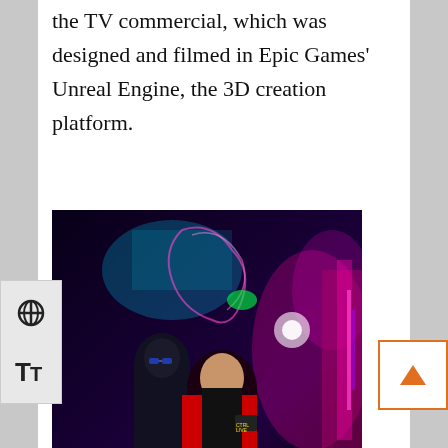the TV commercial, which was designed and filmed in Epic Games' Unreal Engine, the 3D creation platform.
[Figure (photo): Two performers in a neon-lit sci-fi gaming environment. A woman in red and black with a gaming vest, and a man wearing 3D glasses, in a dark arena with colorful neon lights and digital displays.]
Performers Tyra Cartledge and Kendall Drury play Zed.Run for a commercial filmed at Technical Direction Company in